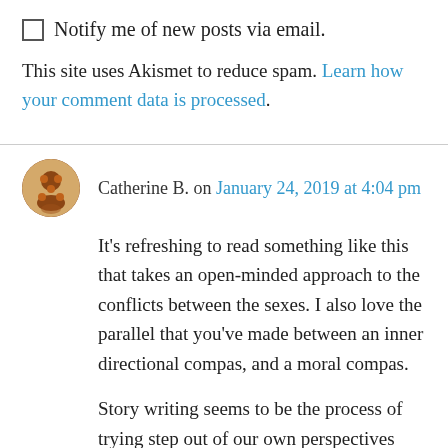Notify me of new posts via email.
This site uses Akismet to reduce spam. Learn how your comment data is processed.
Catherine B. on January 24, 2019 at 4:04 pm
It’s refreshing to read something like this that takes an open-minded approach to the conflicts between the sexes. I also love the parallel that you’ve made between an inner directional compas, and a moral compas.
Story writing seems to be the process of trying step out of our own perspectives with the desire to understand the world through different eyes, and I think that this was the reason that C.S.